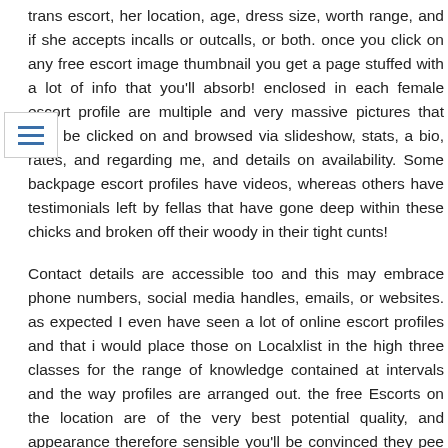trans escort, her location, age, dress size, worth range, and if she accepts incalls or outcalls, or both. once you click on any free escort image thumbnail you get a page stuffed with a lot of info that you'll absorb! enclosed in each female escort profile are multiple and very massive pictures that may be clicked on and browsed via slideshow, stats, a bio, rates, and regarding me, and details on availability. Some backpage escort profiles have videos, whereas others have testimonials left by fellas that have gone deep within these chicks and broken off their woody in their tight cunts!
Contact details are accessible too and this may embrace phone numbers, social media handles, emails, or websites. as expected I even have seen a lot of online escort profiles and that i would place those on Localxlist in the high three classes for the range of knowledge contained at intervals and the way profiles are arranged out. the free Escorts on the location are of the very best potential quality, and appearance therefore sensible you'll be convinced they pee honey and shit heat